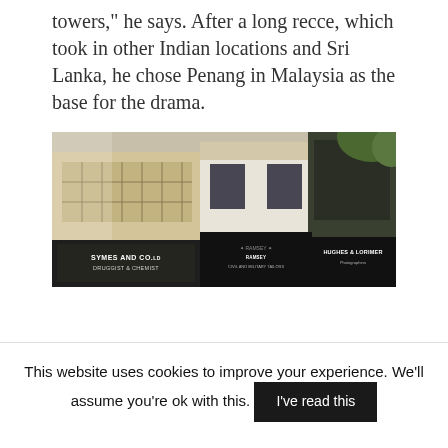towers," he says. After a long recce, which took in other Indian locations and Sri Lanka, he chose Penang in Malaysia as the base for the drama.
[Figure (photo): Photograph of a row of colonial-era shophouses with signage reading 'SYMES AND CO. DRUGGIST & CHEMIST', 'RAMSEY CIVIL AND MILITARY TAILORS', and 'HUGHES & LORIMER Photographers', set in Penang, Malaysia.]
This website uses cookies to improve your experience. We'll assume you're ok with this.